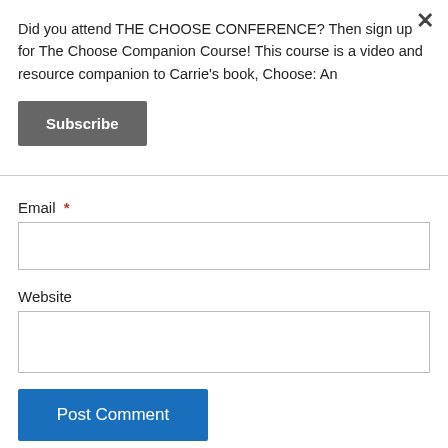Did you attend THE CHOOSE CONFERENCE? Then sign up for The Choose Companion Course! This course is a video and resource companion to Carrie's book, Choose: An
Subscribe
Email *
Website
Post Comment
Notify me of new comments via email